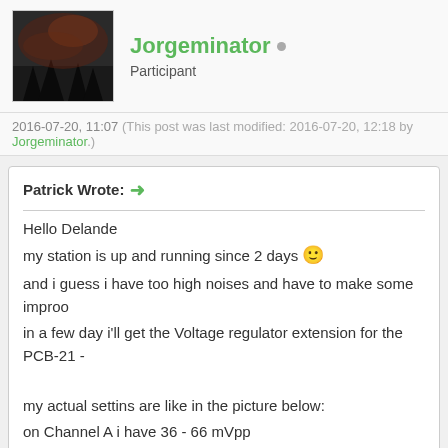Jorgeminator • Participant
2016-07-20, 11:07 (This post was last modified: 2016-07-20, 12:18 by Jorgeminator.)
Patrick Wrote: → Hello Delande my station is up and running since 2 days :) and i guess i have too high noises and have to make some improo in a few day i'll get the Voltage regulator extension for the PCB-21 - my actual settins are like in the picture below: on Channel A i have 36 - 66 mVpp on Channel B i have 17 - 24 mVpp on Channel C i had 13 - 14 mVpp - but this morning i had 320 - 440 variable.. are those levels high? or ok? but sure i'll ground the controller and hope the noise will go down. my power-supply is quite normal and i think it isnt that "clean and si